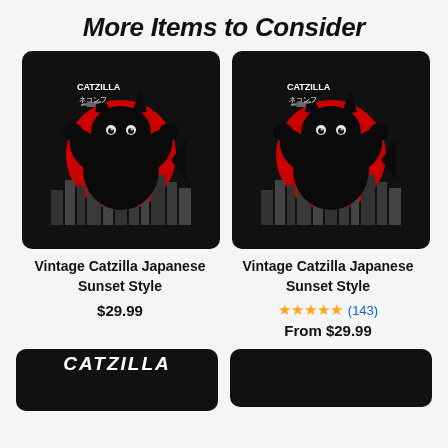More Items to Consider
[Figure (photo): Vintage Catzilla Japanese Sunset Style product image - black background with black cat monster over red sun and city skyline]
Vintage Catzilla Japanese Sunset Style
$29.99
[Figure (photo): Vintage Catzilla Japanese Sunset Style product image - black background with black cat monster over red sun and city skyline]
Vintage Catzilla Japanese Sunset Style
★★★★★ (143)
From $29.99
[Figure (photo): Bottom left product - partially visible Catzilla product]
[Figure (photo): Bottom right product - partially visible product]